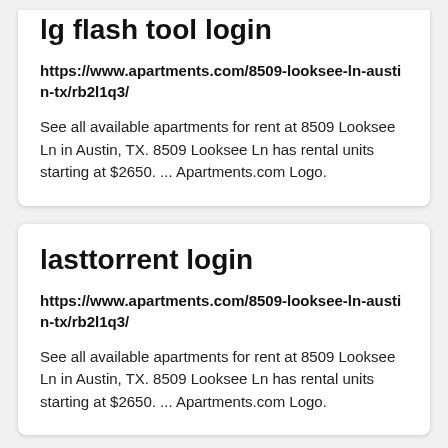lg flash tool login
https://www.apartments.com/8509-looksee-ln-austin-tx/rb2l1q3/
See all available apartments for rent at 8509 Looksee Ln in Austin, TX. 8509 Looksee Ln has rental units starting at $2650. ... Apartments.com Logo.
lasttorrent login
https://www.apartments.com/8509-looksee-ln-austin-tx/rb2l1q3/
See all available apartments for rent at 8509 Looksee Ln in Austin, TX. 8509 Looksee Ln has rental units starting at $2650. ... Apartments.com Logo.